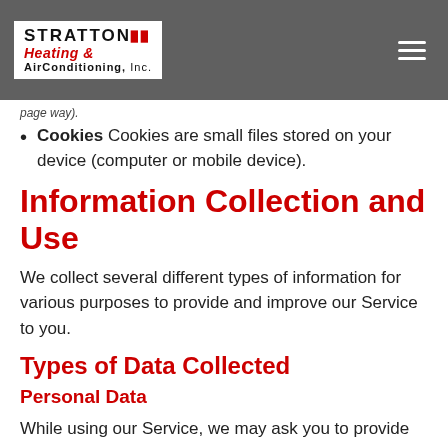Stratton Heating & Air Conditioning, Inc.
page way).
Cookies Cookies are small files stored on your device (computer or mobile device).
Information Collection and Use
We collect several different types of information for various purposes to provide and improve our Service to you.
Types of Data Collected
Personal Data
While using our Service, we may ask you to provide us with certain personally identifiable information that can be used